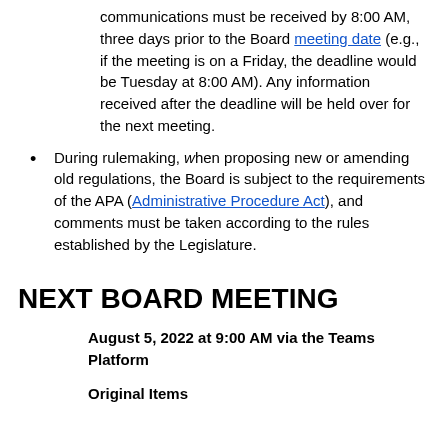communications must be received by 8:00 AM, three days prior to the Board meeting date (e.g., if the meeting is on a Friday, the deadline would be Tuesday at 8:00 AM). Any information received after the deadline will be held over for the next meeting.
During rulemaking, when proposing new or amending old regulations, the Board is subject to the requirements of the APA (Administrative Procedure Act), and comments must be taken according to the rules established by the Legislature.
NEXT BOARD MEETING
August 5, 2022 at 9:00 AM via the Teams Platform
Original Items